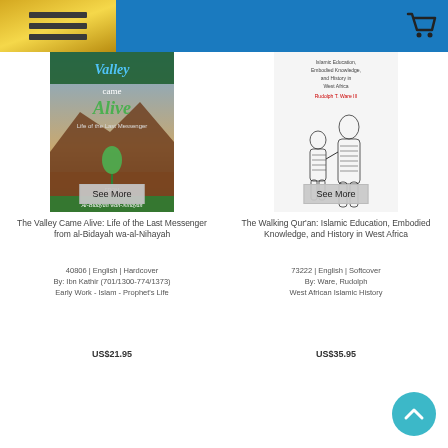Navigation header with menu and cart icon
[Figure (photo): Book cover: The Valley Came Alive - Life of the Last Messenger from al-Bidayah wan-Nihayah]
The Valley Came Alive: Life of the Last Messenger from al-Bidayah wa-al-Nihayah
40806 | English | Hardcover
By: Ibn Kathir (701/1300-774/1373)
Early Work - Islam - Prophet's Life
US$21.95
[Figure (photo): Book cover: The Walking Qur'an: Islamic Education, Embodied Knowledge, and History in West Africa]
The Walking Qur'an: Islamic Education, Embodied Knowledge, and History in West Africa
73222 | English | Softcover
By: Ware, Rudolph
West African Islamic History
US$35.95